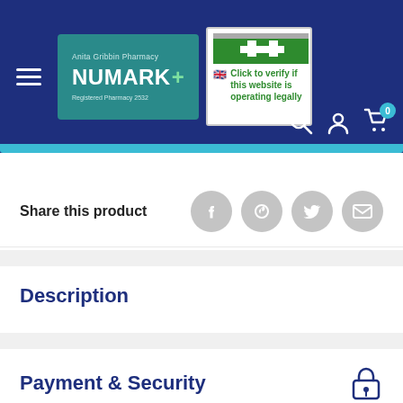[Figure (logo): Numark pharmacy website header with dark blue background, hamburger menu icon, Numark+ pharmacy logo in teal, and a GPhC verification badge with green cross and UK flag. Header icons for search, account, and cart (with 0 items) in top right.]
Share this product
Description
Payment & Security